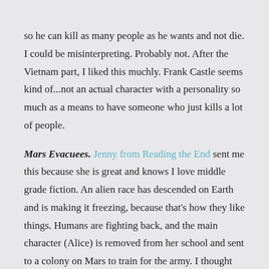so he can kill as many people as he wants and not die. I could be misinterpreting. Probably not. After the Vietnam part, I liked this muchly. Frank Castle seems kind of...not an actual character with a personality so much as a means to have someone who just kills a lot of people.
Mars Evacuees. Jenny from Reading the End sent me this because she is great and knows I love middle grade fiction. An alien race has descended on Earth and is making it freezing, because that's how they like things. Humans are fighting back, and the main character (Alice) is removed from her school and sent to a colony on Mars to train for the army. I thought this would be a pretty lighthearted book, so I was extremely taken aback when a Lord of the Flies situation occurs partway through and then a lot of reminiscent-of-The Martian type survival. That kind of stuff stresses me the hell out, so halfway through